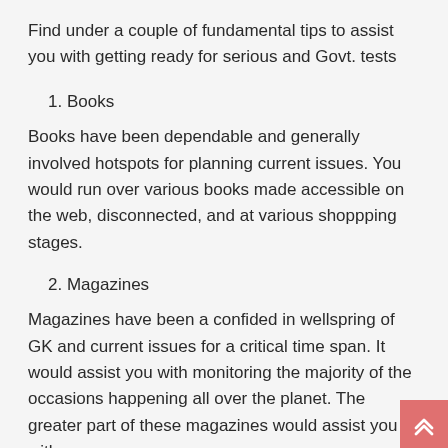Find under a couple of fundamental tips to assist you with getting ready for serious and Govt. tests
1. Books
Books have been dependable and generally involved hotspots for planning current issues. You would run over various books made accessible on the web, disconnected, and at various shoppping stages.
2. Magazines
Magazines have been a confided in wellspring of GK and current issues for a critical time span. It would assist you with monitoring the majority of the occasions happening all over the planet. The greater part of these magazines would assist you with